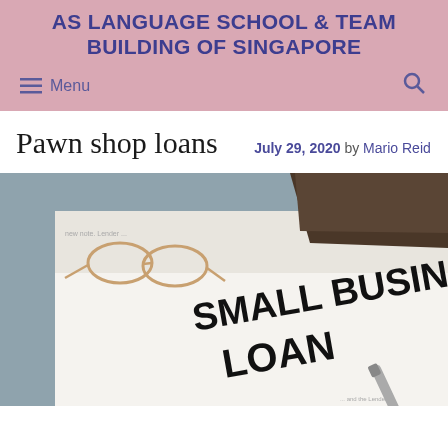AS LANGUAGE SCHOOL & TEAM BUILDING OF SINGAPORE
Pawn shop loans
July 29, 2020 by Mario Reid
[Figure (photo): Photo of documents on a desk with 'SMALL BUSINESS LOAN' text printed on paper, along with glasses, a wallet, and a pen]